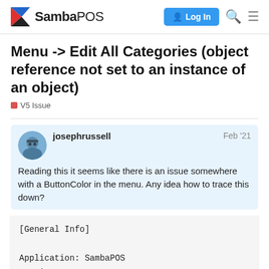SambaPOS | Log In
Menu -> Edit All Categories (object reference not set to an instance of an object)
V5 Issue
josephrussell  Feb '21
Reading this it seems like there is an issue somewhere with a ButtonColor in the menu. Any idea how to trace this down?
[General Info]

Application: SambaPOS
Version: 5.3.2
Region: en
DB: SO